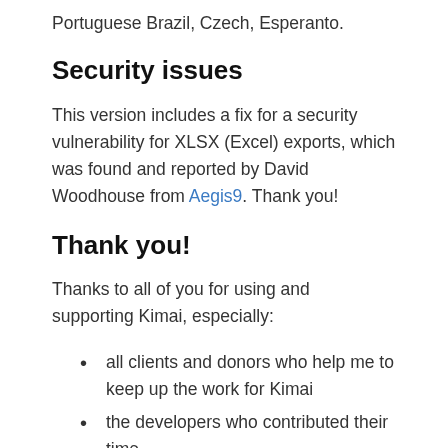Portuguese Brazil, Czech, Esperanto.
Security issues
This version includes a fix for a security vulnerability for XLSX (Excel) exports, which was found and reported by David Woodhouse from Aegis9. Thank you!
Thank you!
Thanks to all of you for using and supporting Kimai, especially:
all clients and donors who help me to keep up the work for Kimai
the developers who contributed their time
the translators at Weblate
everyone else contributing at GitHub, too many to